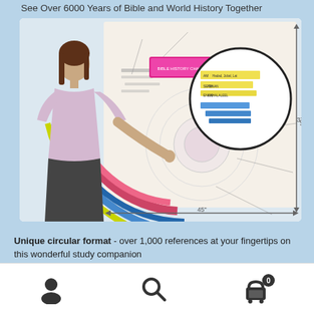See Over 6000 Years of Bible and World History Together
[Figure (photo): A woman standing in front of a large circular Bible and World History chart (45 inches wide, 37 inches tall), pointing at colorful concentric ring timeline. A zoomed inset shows detail of the chart with labeled historical periods.]
Unique circular format - over 1,000 references at your fingertips on this wonderful study companion
Discover interesting facts - Biblical events with scripture references plotted alongside world history showcase fun
[Figure (other): Bottom navigation bar with user/account icon, search icon, and shopping cart icon with badge showing 0]